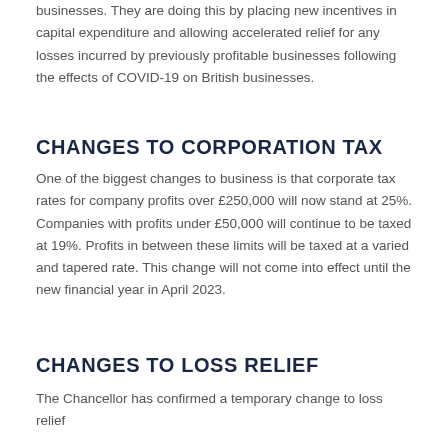businesses. They are doing this by placing new incentives in capital expenditure and allowing accelerated relief for any losses incurred by previously profitable businesses following the effects of COVID-19 on British businesses.
CHANGES TO CORPORATION TAX
One of the biggest changes to business is that corporate tax rates for company profits over £250,000 will now stand at 25%. Companies with profits under £50,000 will continue to be taxed at 19%. Profits in between these limits will be taxed at a varied and tapered rate. This change will not come into effect until the new financial year in April 2023.
CHANGES TO LOSS RELIEF
The Chancellor has confirmed a temporary change to loss relief